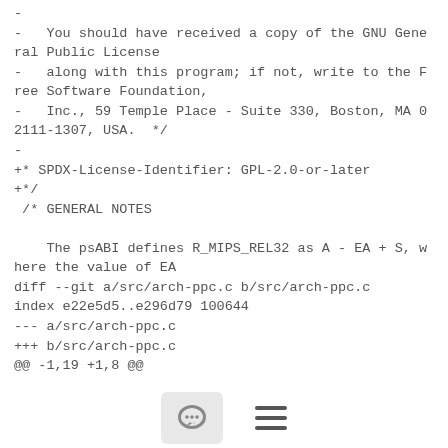-
-   You should have received a copy of the GNU General Public License
-   along with this program; if not, write to the Free Software Foundation,
-   Inc., 59 Temple Place - Suite 330, Boston, MA 02111-1307, USA.  */
-
+* SPDX-License-Identifier: GPL-2.0-or-later
+*/
 /* GENERAL NOTES

    The psABI defines R_MIPS_REL32 as A - EA + S, where the value of EA
diff --git a/src/arch-ppc.c b/src/arch-ppc.c
index e22e5d5..e296d79 100644
--- a/src/arch-ppc.c
+++ b/src/arch-ppc.c
@@ -1,19 +1,8 @@
[Figure (other): Footer bar with a chat/comment bubble icon button and a hamburger menu icon]